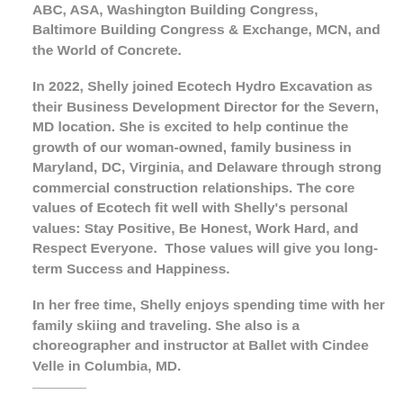ABC, ASA, Washington Building Congress, Baltimore Building Congress & Exchange, MCN, and the World of Concrete.
In 2022, Shelly joined Ecotech Hydro Excavation as their Business Development Director for the Severn, MD location. She is excited to help continue the growth of our woman-owned, family business in Maryland, DC, Virginia, and Delaware through strong commercial construction relationships. The core values of Ecotech fit well with Shelly's personal values: Stay Positive, Be Honest, Work Hard, and Respect Everyone.  Those values will give you long-term Success and Happiness.
In her free time, Shelly enjoys spending time with her family skiing and traveling. She also is a choreographer and instructor at Ballet with Cindee Velle in Columbia, MD.